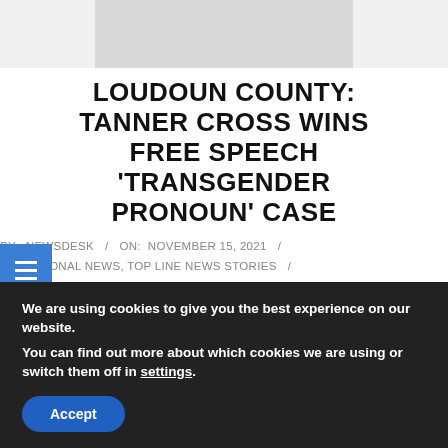[Figure (photo): Partial image at top of page, cropped — appears to show a hand or object, gray/light background]
LOUDOUN COUNTY: TANNER CROSS WINS FREE SPEECH 'TRANSGENDER PRONOUN' CASE
BY: NEWSDESK / ON: NOVEMBER 15, 2021 / IN: NATIONAL NEWS, TOP LINE NEWS STORIES / WITH: 0 COMMENTS
In settlement of the original claims that Alliance Defending Freedom attorneys filed on behalf of Leesburg Elementary School teacher Tanner Cross, the Loudoun County School Board has
We are using cookies to give you the best experience on our website.
You can find out more about which cookies we are using or switch them off in settings.